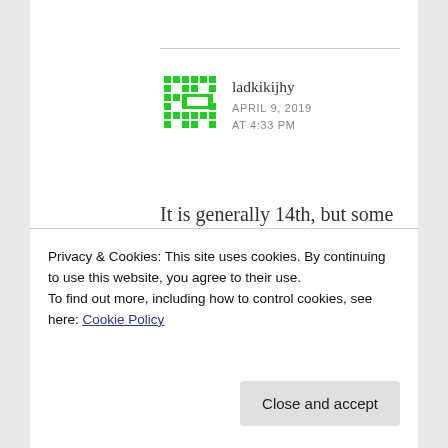[Figure (illustration): Green pixel/identicon avatar for user ladkikijhy]
ladkikijhy
APRIL 9, 2019
AT 4:33 PM
It is generally 14th, but some years it comes on 15th. Konna pu, for us is only in dreams! There's one back home which
Privacy & Cookies: This site uses cookies. By continuing to use this website, you agree to their use.
To find out more, including how to control cookies, see here: Cookie Policy
Close and accept